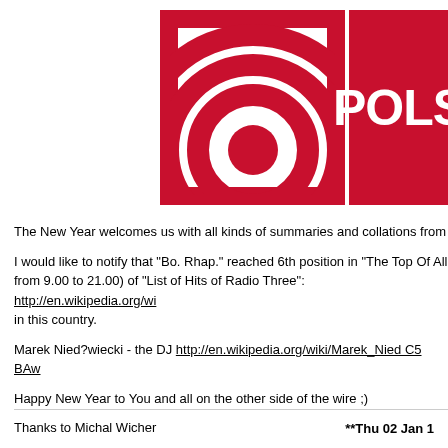[Figure (logo): Polskie Radio logo: red square with white concentric circles on the left, red rectangle with white text 'POLS' (partially cropped) on the right]
The New Year welcomes us with all kinds of summaries and collations from
I would like to notify that "Bo. Rhap." reached 6th position in "The Top Of All from 9.00 to 21.00) of "List of Hits of Radio Three": http://en.wikipedia.org/wi in this country.
Marek Nied?wiecki - the DJ http://en.wikipedia.org/wiki/Marek_Nied C5 BAw
Happy New Year to You and all on the other side of the wire ;)
Thanks to Michal Wicher
© brianmay.com
**Thu 02 Jan 1